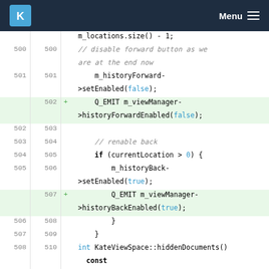KDE Menu
[Figure (screenshot): Code diff view showing KDE source code with line numbers, added lines highlighted in green, showing C++ code for history forward/back enabled signals]
m_locations.size() - 1;
// disable forward button as we are at the end now
m_historyForward->setEnabled(false);
+ Q_EMIT m_viewManager->historyForwardEnabled(false);

// renable back
if (currentLocation > 0) {
    m_historyBack->setEnabled(true);
+         Q_EMIT m_viewManager->historyBackEnabled(true);
    }
}
int KateViewSpace::hiddenDocuments()
  const
... ... @@ -699,6 +701,7 @@ void
KateViewSpace::goBack()